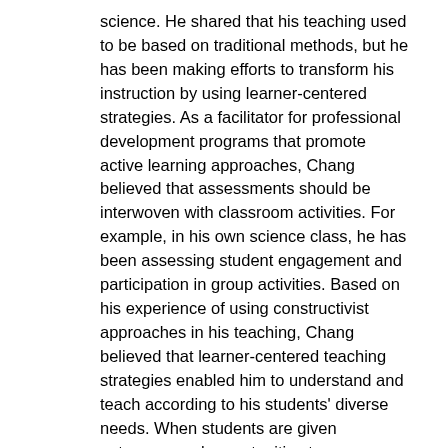science. He shared that his teaching used to be based on traditional methods, but he has been making efforts to transform his instruction by using learner-centered strategies. As a facilitator for professional development programs that promote active learning approaches, Chang believed that assessments should be interwoven with classroom activities. For example, in his own science class, he has been assessing student engagement and participation in group activities. Based on his experience of using constructivist approaches in his teaching, Chang believed that learner-centered teaching strategies enabled him to understand and teach according to his students' diverse needs. When students are given autonomy and opportunities to demonstrate their diverse talents and creative ideas, they are "more engaged in classroom activities." The following table illustrates teachers' understanding of educational policy, their stance on inquiry-based teaching and the pedagogical strategies that they use while teaching (Table 2). In Table 3, we present excerpts from the teachers' interviews and reflective journals that illustrate teachers' shared beliefs about